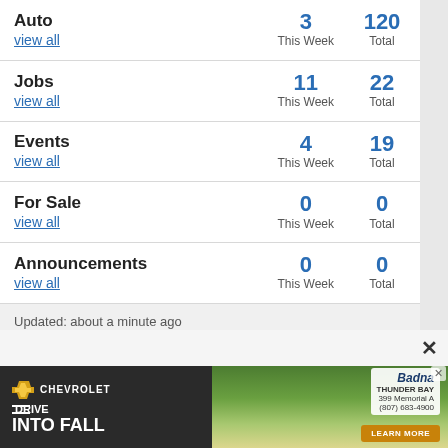| Category | This Week | Total |
| --- | --- | --- |
| Auto / view all | 3 | 120 |
| Jobs / view all | 11 | 22 |
| Events / view all | 4 | 19 |
| For Sale / view all | 0 | 0 |
| Announcements / view all | 0 | 0 |
Updated: about a minute ago
[Figure (screenshot): Chevrolet / Badna Thunder Bay dealership advertisement. Text: DRIVE INTO FALL. Address: 399 Memorial A. Phone: (807) 683-4900. LEARN MORE button.]